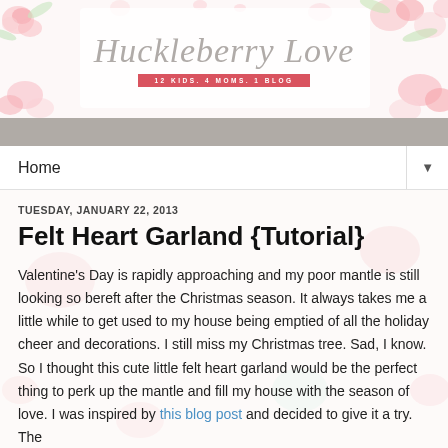[Figure (illustration): Floral watercolor header with pink roses, green leaves on white background with 'Huckleberry Love' script logo and subtitle banner '12 KIDS. 4 MOMS. 1 BLOG']
Home ▼
TUESDAY, JANUARY 22, 2013
Felt Heart Garland {Tutorial}
Valentine's Day is rapidly approaching and my poor mantle is still looking so bereft after the Christmas season. It always takes me a little while to get used to my house being emptied of all the holiday cheer and decorations. I still miss my Christmas tree. Sad, I know. So I thought this cute little felt heart garland would be the perfect thing to perk up the mantle and fill my house with the season of love. I was inspired by this blog post and decided to give it a try. The